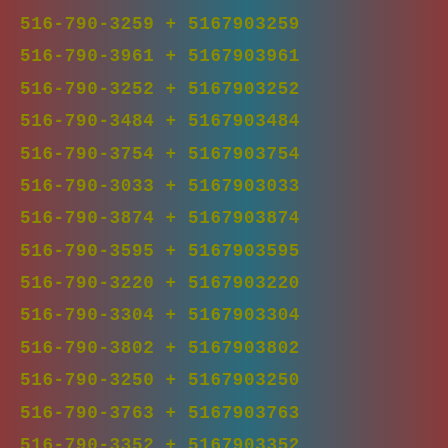516-790-3259 + 5167903259
516-790-3961 + 5167903961
516-790-3252 + 5167903252
516-790-3484 + 5167903484
516-790-3754 + 5167903754
516-790-3033 + 5167903033
516-790-3874 + 5167903874
516-790-3595 + 5167903595
516-790-3220 + 5167903220
516-790-3304 + 5167903304
516-790-3802 + 5167903802
516-790-3250 + 5167903250
516-790-3763 + 5167903763
516-790-3352 + 5167903352
516-790-3381 + 5167903381
516-790-3593 + 5167903593
516-790-3974 + 5167903974
516-790-3722 + 5167903722
516-790-3735 + 5167903735
516-790-3701 + 5167903701
516-790-3610 + 5167903610
516-790-3171 + 5167903171